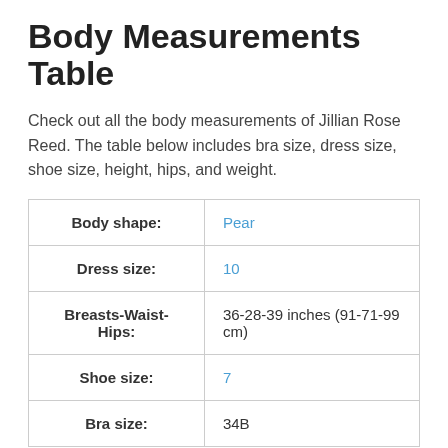Body Measurements Table
Check out all the body measurements of Jillian Rose Reed. The table below includes bra size, dress size, shoe size, height, hips, and weight.
|  |  |
| --- | --- |
| Body shape: | Pear |
| Dress size: | 10 |
| Breasts-Waist-Hips: | 36-28-39 inches (91-71-99 cm) |
| Shoe size: | 7 |
| Bra size: | 34B |